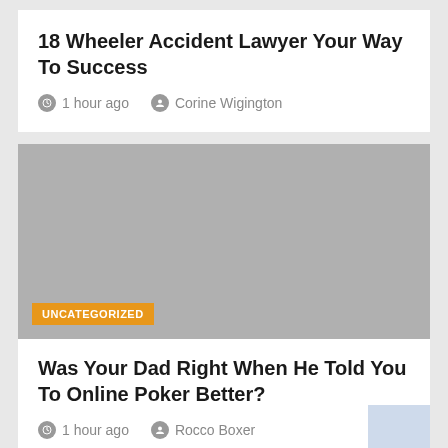18 Wheeler Accident Lawyer Your Way To Success
1 hour ago   Corine Wigington
[Figure (photo): Gray placeholder image with UNCATEGORIZED badge]
Was Your Dad Right When He Told You To Online Poker Better?
1 hour ago   Rocco Boxer